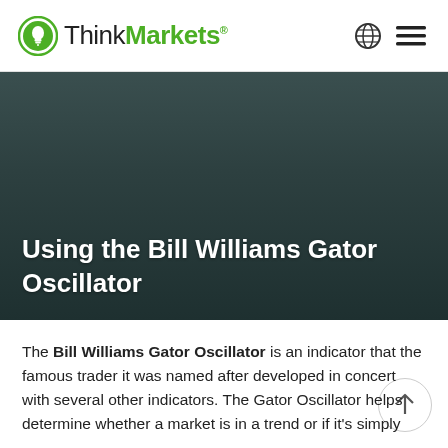ThinkMarkets®
Using the Bill Williams Gator Oscillator
The Bill Williams Gator Oscillator is an indicator that the famous trader it was named after developed in concert with several other indicators. The Gator Oscillator helps determine whether a market is in a trend or if it's simply